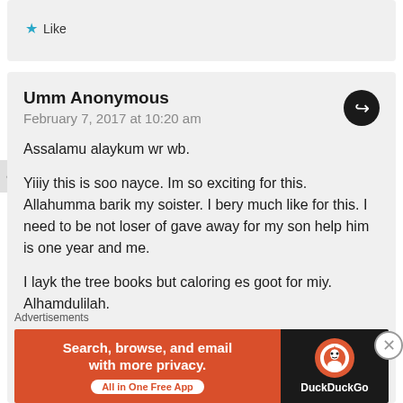Like
Umm Anonymous
February 7, 2017 at 10:20 am
Assalamu alaykum wr wb.

Yiiiy this is soo nayce. Im so exciting for this. Allahumma barik my soister. I bery much like for this. I need to be not loser of gave away for my son help him is one year and me.

I layk the tree books but caloring es goot for miy. Alhamdulilah.

I yees books befoor and i haf fun wif za boy
Advertisements
[Figure (screenshot): DuckDuckGo advertisement banner: orange left side with text 'Search, browse, and email with more privacy. All in One Free App' and dark right side with DuckDuckGo logo and name.]